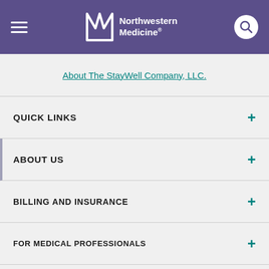Northwestern Medicine
About The StayWell Company, LLC.
QUICK LINKS
ABOUT US
BILLING AND INSURANCE
FOR MEDICAL PROFESSIONALS
FEINBERG SCHOOL OF MEDICINE